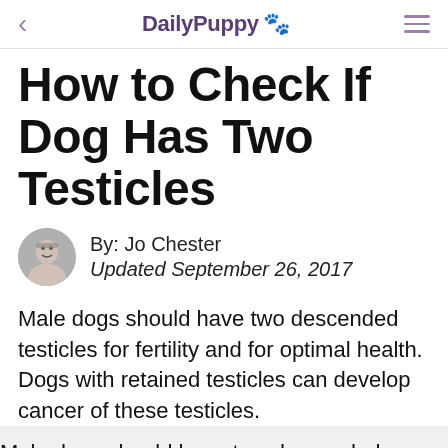DailyPuppy 🐾
How to Check If Dog Has Two Testicles
By: Jo Chester
Updated September 26, 2017
Male dogs should have two descended testicles for fertility and for optimal health. Dogs with retained testicles can develop cancer of these testicles.
Male dogs should have two descended